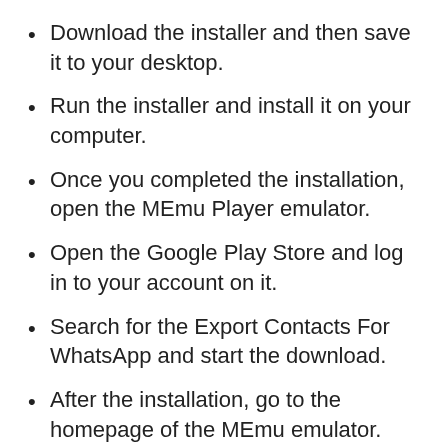Download the installer and then save it to your desktop.
Run the installer and install it on your computer.
Once you completed the installation, open the MEmu Player emulator.
Open the Google Play Store and log in to your account on it.
Search for the Export Contacts For WhatsApp and start the download.
After the installation, go to the homepage of the MEmu emulator.
Find the Export Contacts For WhatsApp and